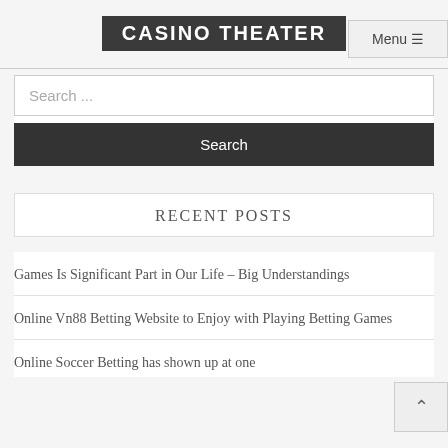CASINO THEATER
Menu ☰
Search ...
Search
RECENT POSTS
Games Is Significant Part in Our Life – Big Understandings
Online Vn88 Betting Website to Enjoy with Playing Betting Games
Online Soccer Betting has shown up at one more height of affirmation